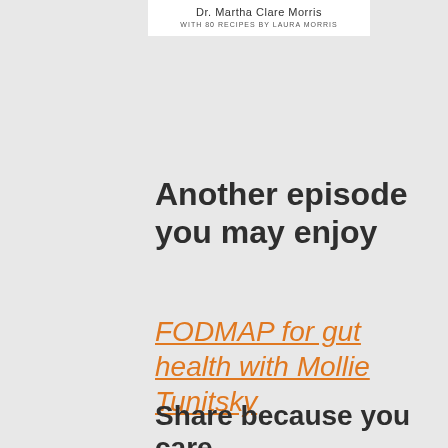[Figure (other): Book cover header snippet showing author name 'Dr. Martha Clare Morris' and subtitle 'WITH 80 RECIPES BY LAURA MORRIS' on white background]
Another episode you may enjoy
FODMAP for gut health with Mollie Tunitsky
Share because you care.